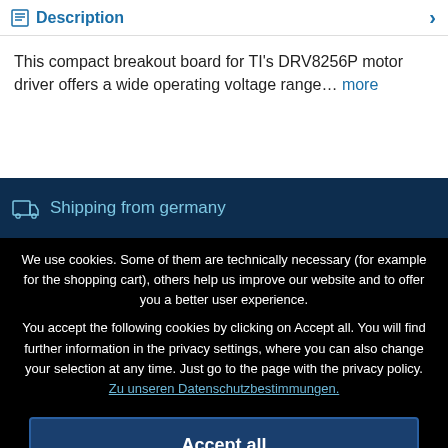Description
This compact breakout board for TI's DRV8256P motor driver offers a wide operating voltage range… more
Shipping from germany
We use cookies. Some of them are technically necessary (for example for the shopping cart), others help us improve our website and to offer you a better user experience.
You accept the following cookies by clicking on Accept all. You will find further information in the privacy settings, where you can also change your selection at any time. Just go to the page with the privacy policy. Zu unseren Datenschutzbestimmungen.
Accept all
Accept only technically necessary
Individuelle Einstellungen